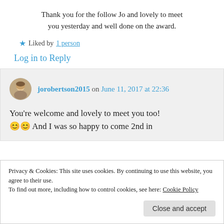Thank you for the follow Jo and lovely to meet you yesterday and well done on the award.
★ Liked by 1 person
Log in to Reply
jorobertson2015 on June 11, 2017 at 22:36
You're welcome and lovely to meet you too! 😊😊 And I was so happy to come 2nd in
Privacy & Cookies: This site uses cookies. By continuing to use this website, you agree to their use. To find out more, including how to control cookies, see here: Cookie Policy